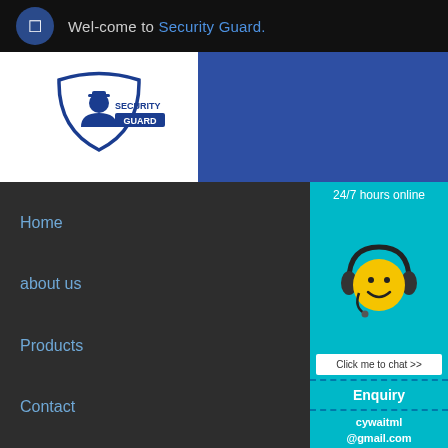Wel-come to Security Guard.
[Figure (logo): Security Guard logo with shield icon and guard figure]
Home
about us
Products
Contact
[Figure (illustration): Smiley face with headset customer support widget with 24/7 hours online label, Click me to chat button, Enquiry section, and cywaitml@gmail.com email]
COST OF CRUSHER IN BA... INDUSTRY
Home > Cost Of Crusher In B...